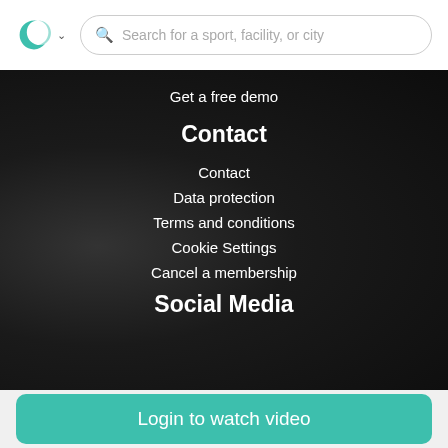Search for a sport, facility, or city
Get a free demo
Contact
Contact
Data protection
Terms and conditions
Cookie Settings
Cancel a membership
Social Media
Login to watch video